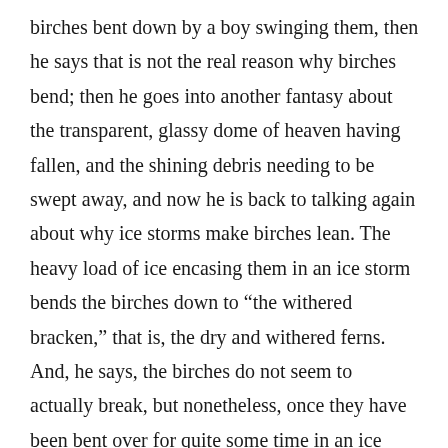birches bent down by a boy swinging them, then he says that is not the real reason why birches bend; then he goes into another fantasy about the transparent, glassy dome of heaven having fallen, and the shining debris needing to be swept away, and now he is back to talking again about why ice storms make birches lean. The heavy load of ice encasing them in an ice storm bends the birches down to “the withered bracken,” that is, the dry and withered ferns. And, he says, the birches do not seem to actually break, but nonetheless, once they have been bent over for quite some time in an ice storm that lasts a long while, they never are again able to “right themselves,” that is, they are never able to stand up straight once more, but continue to grow in a leaning position.